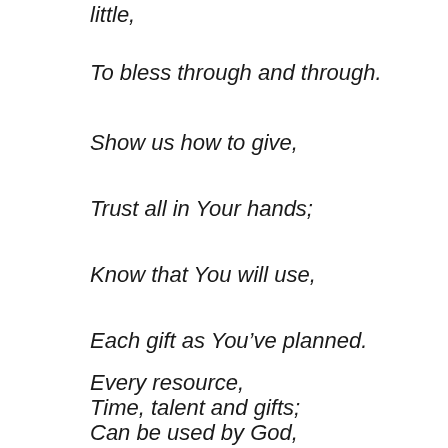little,
To bless through and through.
Show us how to give,
Trust all in Your hands;
Know that You will use,
Each gift as You’ve planned.
Every resource,
Time, talent and gifts;
Can be used by God,